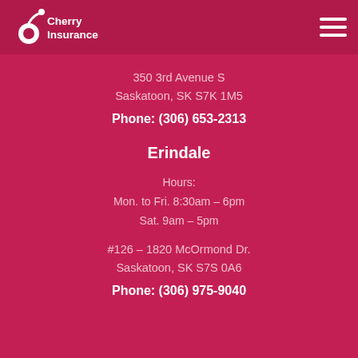[Figure (logo): Cherry Insurance logo — white stylized '6' with cherry stem and text 'Cherry Insurance' on dark pink background]
350 3rd Avenue S
Saskatoon, SK S7K 1M5
Phone: (306) 653-2313
Erindale
Hours:
Mon. to Fri. 8:30am – 6pm
Sat. 9am – 5pm
#126 – 1820 McOrmond Dr.
Saskatoon, SK S7S 0A6
Phone: (306) 975-9040